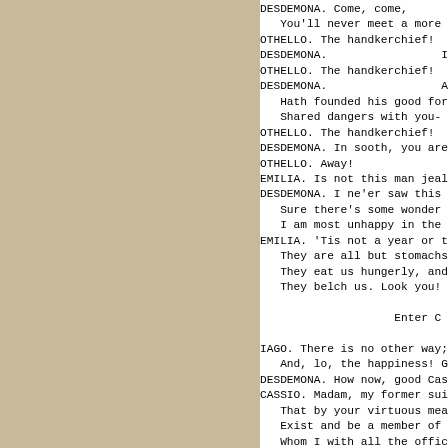DESDEMONA. Come, come,
   You'll never meet a more su
OTHELLO. The handkerchief!
DESDEMONA.                  I
OTHELLO. The handkerchief!
DESDEMONA.                  A
   Hath founded his good fortu
   Shared dangers with you-
OTHELLO. The handkerchief!
DESDEMONA. In sooth, you are
OTHELLO. Away!
EMILIA. Is not this man jealo
DESDEMONA. I ne'er saw this b
   Sure there's some wonder in
   I am most unhappy in the lo
EMILIA. 'Tis not a year or tw
   They are all but stomachs a
   They eat us hungerly, and w
   They belch us. Look you! Ca

                    Enter C

IAGO. There is no other way;
   And, lo, the happiness! Go
DESDEMONA. How now, good Cass
CASSIO. Madam, my former suit
   That by your virtuous means
   Exist and be a member of hi
   Whom I with all the office
   Entirely honor. I would not
   If my offense be of such mo
   That nor my service past no
   Nor surpassed merit in futu